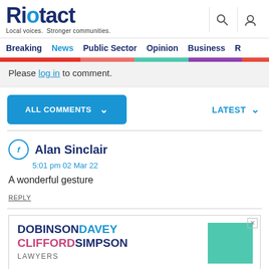Riotact — Local voices. Stronger communities.
Breaking | News | Public Sector | Opinion | Business | R
Please log in to comment.
ALL COMMENTS  ∨          LATEST  ∨
Alan Sinclair
5:01 pm 02 Mar 22
A wonderful gesture
REPLY
[Figure (logo): Dobinson Davey Clifford Simpson Lawyers advertisement with teal green box]
DOBINSONDAVEY CLIFFORDSIMPSON LAWYERS